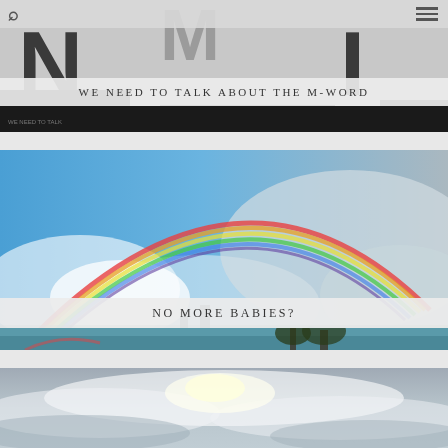[Figure (screenshot): Mobile website screenshot showing a blog with two article cards. Top card has black and white image of letter M with title 'WE NEED TO TALK ABOUT THE M-WORD'. Second card shows a rainbow over cloudy sky with title 'NO MORE BABIES?'. Third partial card shows cloudy sky.]
WE NEED TO TALK ABOUT THE M-WORD
NO MORE BABIES?